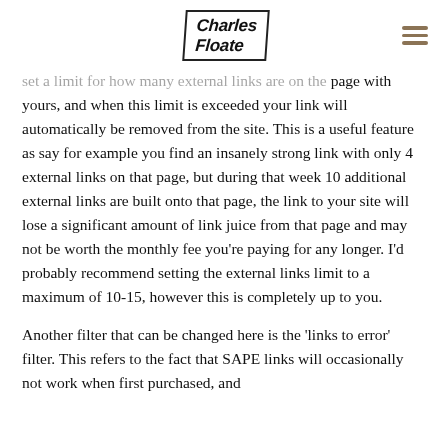Charles Floate
set a limit for how many external links are on the page with yours, and when this limit is exceeded your link will automatically be removed from the site. This is a useful feature as say for example you find an insanely strong link with only 4 external links on that page, but during that week 10 additional external links are built onto that page, the link to your site will lose a significant amount of link juice from that page and may not be worth the monthly fee you're paying for any longer. I'd probably recommend setting the external links limit to a maximum of 10-15, however this is completely up to you.
Another filter that can be changed here is the 'links to error' filter. This refers to the fact that SAPE links will occasionally not work when first purchased, and